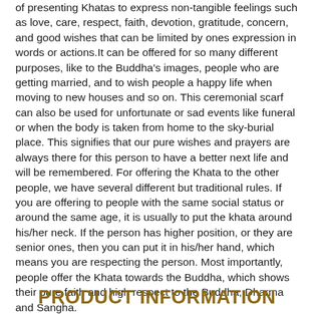of presenting Khatas to express non-tangible feelings such as love, care, respect, faith, devotion, gratitude, concern, and good wishes that can be limited by ones expression in words or actions.It can be offered for so many different purposes, like to the Buddha's images, people who are getting married, and to wish people a happy life when moving to new houses and so on. This ceremonial scarf can also be used for unfortunate or sad events like funeral or when the body is taken from home to the sky-burial place. This signifies that our pure wishes and prayers are always there for this person to have a better next life and will be remembered. For offering the Khata to the other people, we have several different but traditional rules. If you are offering to people with the same social status or around the same age, it is usually to put the khata around his/her neck. If the person has higher position, or they are senior ones, then you can put it in his/her hand, which means you are respecting the person. Most importantly, people offer the Khata towards the Buddha, which shows their pure faith and high respect to the Buddha, Dharma and Sangha.
PRODUCT INFORMATION